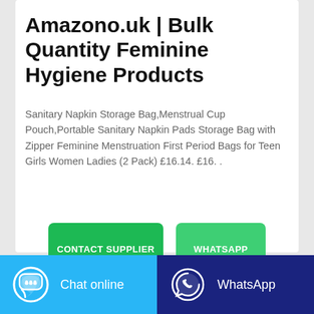Amazono.uk | Bulk Quantity Feminine Hygiene Products
Sanitary Napkin Storage Bag,Menstrual Cup Pouch,Portable Sanitary Napkin Pads Storage Bag with Zipper Feminine Menstruation First Period Bags for Teen Girls Women Ladies (2 Pack) £16.14. £16. .
CONTACT SUPPLIER
WHATSAPP
Chat online
WhatsApp